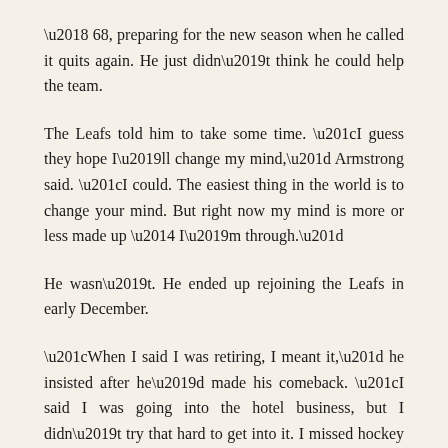’68, preparing for the new season when he called it quits again. He just didn’t think he could help the team.
The Leafs told him to take some time. “I guess they hope I’ll change my mind,” Armstrong said. “I could. The easiest thing in the world is to change your mind. But right now my mind is more or less made up — I’m through.”
He wasn’t. He ended up rejoining the Leafs in early December.
“When I said I was retiring, I meant it,” he insisted after he’d made his comeback. “I said I was going into the hotel business, but I didn’t try that hard to get into it. I missed hockey and Punch kept asking me to come